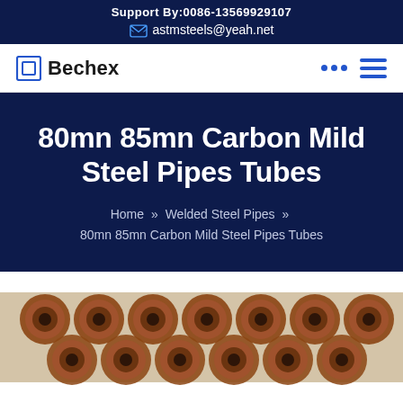Support By:0086-13569929107
astmsteels@yeah.net
Bechex
80mn 85mn Carbon Mild Steel Pipes Tubes
Home » Welded Steel Pipes » 80mn 85mn Carbon Mild Steel Pipes Tubes
[Figure (photo): Steel pipes/tubes stacked horizontally, reddish-brown color, viewed from the ends, industrial setting]